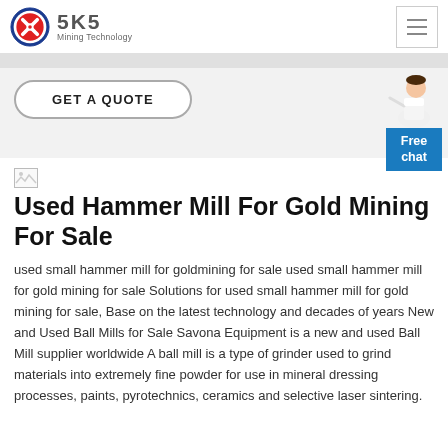[Figure (logo): SKS Mining Technology logo with red and blue circular emblem and company name]
[Figure (other): Hamburger menu icon (three horizontal lines) in a square border]
[Figure (other): GET A QUOTE button with rounded border]
[Figure (other): Customer service representative illustration with Free chat blue bubble]
[Figure (other): Broken image placeholder icon]
Used Hammer Mill For Gold Mining For Sale
used small hammer mill for goldmining for sale used small hammer mill for gold mining for sale Solutions for used small hammer mill for gold mining for sale, Base on the latest technology and decades of years New and Used Ball Mills for Sale Savona Equipment is a new and used Ball Mill supplier worldwide A ball mill is a type of grinder used to grind materials into extremely fine powder for use in mineral dressing processes, paints, pyrotechnics, ceramics and selective laser sintering.